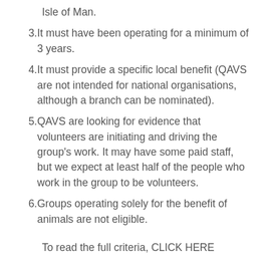Isle of Man.
3. It must have been operating for a minimum of 3 years.
4. It must provide a specific local benefit (QAVS are not intended for national organisations, although a branch can be nominated).
5. QAVS are looking for evidence that volunteers are initiating and driving the group’s work. It may have some paid staff, but we expect at least half of the people who work in the group to be volunteers.
6. Groups operating solely for the benefit of animals are not eligible.
To read the full criteria, CLICK HERE